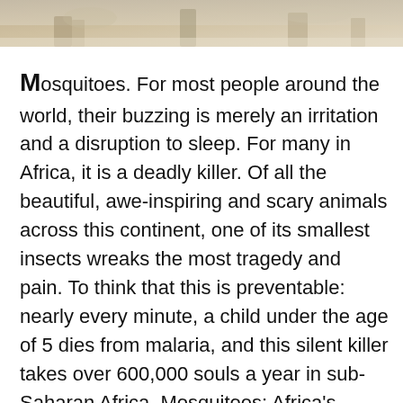[Figure (photo): Partial photograph strip at the top of the page, showing an outdoor scene, cropped to a narrow horizontal band.]
Mosquitoes. For most people around the world, their buzzing is merely an irritation and a disruption to sleep. For many in Africa, it is a deadly killer. Of all the beautiful, awe-inspiring and scary animals across this continent, one of its smallest insects wreaks the most tragedy and pain. To think that this is preventable: nearly every minute, a child under the age of 5 dies from malaria, and this silent killer takes over 600,000 souls a year in sub-Saharan Africa. Mosquitoes: Africa's curse.